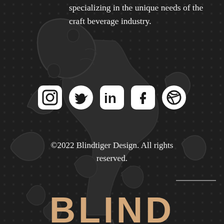[Figure (illustration): Dark background with tiger illustration pattern and dot texture overlay]
specializing in the unique needs of the craft beverage industry.
[Figure (infographic): Row of 5 social media icons: Instagram, Twitter, LinkedIn, Facebook, Dribbble — white on dark rounded square/circle backgrounds]
©2022 Blindtiger Design. All rights reserved.
BLIND